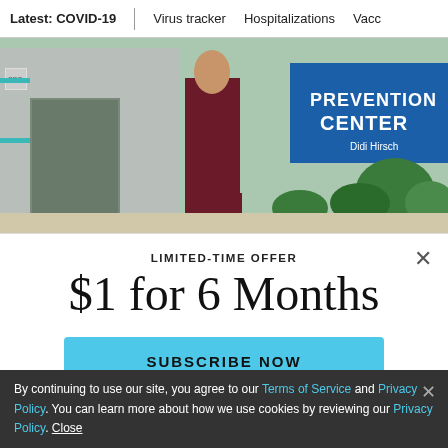Latest: COVID-19 | Virus tracker | Hospitalizations | Vacc
[Figure (photo): Person in dark red scrubs standing outside a building with a blue sign reading PREVENTION CENTER, Didi Hirsch]
Carolyn Levitan is the director of the crisis line at Didi Hirsch Mental Health Services, which expects a huge increase in call volume in the coming months during the COVID-19 pandemic. (Marcus Shaved...
LIMITED-TIME OFFER
$1 for 6 Months
SUBSCRIBE NOW
By continuing to use our site, you agree to our Terms of Service and Privacy Policy. You can learn more about how we use cookies by reviewing our Privacy Policy. Close